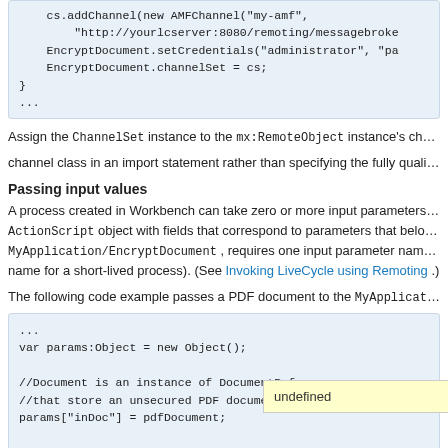[Figure (screenshot): Code block showing cs.addChannel(new AMFChannel), EncryptDocument.setCredentials, EncryptDocument.channelSet = cs; closing brace and ellipsis]
Assign the ChannelSet instance to the mx:RemoteObject instance's channelS... channel class in an import statement rather than specifying the fully qualified name w...
Passing input values
A process created in Workbench can take zero or more input parameters and return... ActionScript object with fields that correspond to parameters that belong to the... MyApplication/EncryptDocument , requires one input parameter named inDo... name for a short-lived process). (See Invoking LiveCycle using Remoting .)
The following code example passes a PDF document to the MyApplication/Enc...
[Figure (screenshot): Code block showing ... var params:Object = new Object(); //Document is an instance of DocumentReference //that store an unsecured PDF document params["inDoc"] = pdfDocument; // ...]
undefined